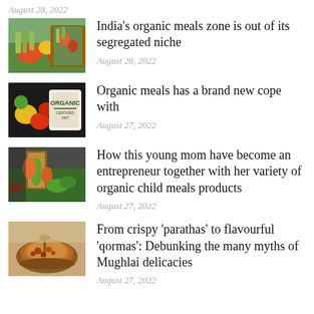August 28, 2022
[Figure (photo): Basket of fresh vegetables and greens]
India's organic meals zone is out of its segregated niche
August 28, 2022
[Figure (photo): Organic produce with ORGANIC stamp label]
Organic meals has a brand new cope with
August 27, 2022
[Figure (photo): Fresh vegetables and greens in bag]
How this young mom have become an entrepreneur together with her variety of organic child meals products
August 27, 2022
[Figure (photo): Bowl of curry or stew dish]
From crispy ‘parathas’ to flavourful ‘qormas’: Debunking the many myths of Mughlai delicacies
August 27, 2022